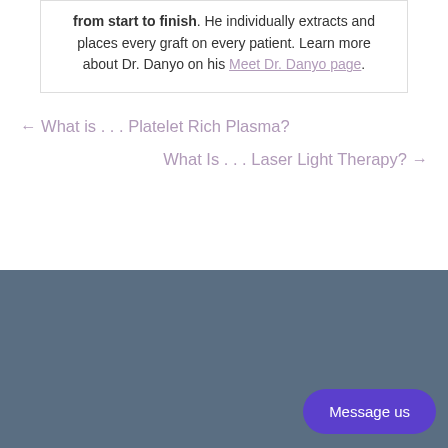from start to finish. He individually extracts and places every graft on every patient. Learn more about Dr. Danyo on his Meet Dr. Danyo page.
← What is . . . Platelet Rich Plasma?
What Is . . . Laser Light Therapy? →
Message us